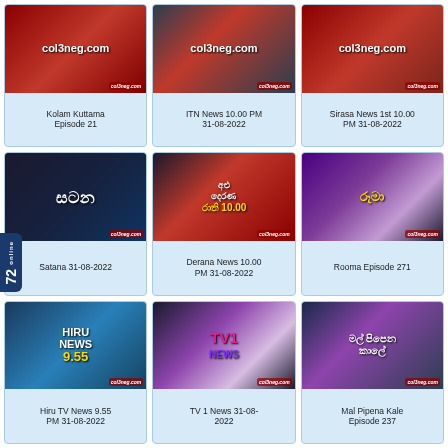[Figure (screenshot): Thumbnail for Kolam Kuttama Episode 21 - dark red gradient with col3neg.com watermark]
Kolam Kuttama Episode 21
[Figure (screenshot): Thumbnail for ITN News 10.00 PM 31-08-2022 - dark gradient with col3neg.com watermark]
ITN News 10.00 PM 31-08-2022
[Figure (screenshot): Thumbnail for Sirasa News 1st 10.00 PM 31-08-2022 - dark red gradient with col3neg.com watermark]
Sirasa News 1st 10.00 PM 31-08-2022
[Figure (screenshot): Thumbnail for Satana 31-08-2022 - dark with Sinhala text logo]
Satana 31-08-2022
[Figure (screenshot): Thumbnail for Derana News 10.00 PM 31-08-2022 - dark red with Sinhala logo and 10.00 label]
Derana News 10.00 PM 31-08-2022
[Figure (screenshot): Thumbnail for Rooma Episode 271 - purple gradient with drama characters]
Rooma Episode 271
[Figure (screenshot): Thumbnail for Hiru TV News 9.55 PM - blue gradient with HIRU NEWS 9.55 logo]
Hiru TV News 9.55 PM 31-08-2022
[Figure (screenshot): Thumbnail for TV 1 News 31-08-2022 - purple/pink TV1 NEWS logo]
TV 1 News 31-08-2022
[Figure (screenshot): Thumbnail for Mal Pipena Kale Episode 237 - dark blue/purple with Sinhala title text]
Mal Pipena Kale Episode 237